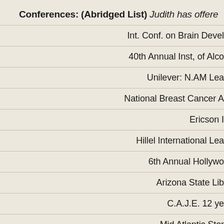Conferences: (Abridged List) Judith has offered...
Int. Conf. on Brain Devel...
40th Annual Inst, of Alco...
Unilever: N.AM Lea...
National Breast Cancer A...
Ericson I...
Hillel International Lea...
6th Annual Hollywo...
Arizona State Lib...
C.A.J.E. 12 ye...
Mid Atlantic Stor...
Wisc. Institute of Judaic...